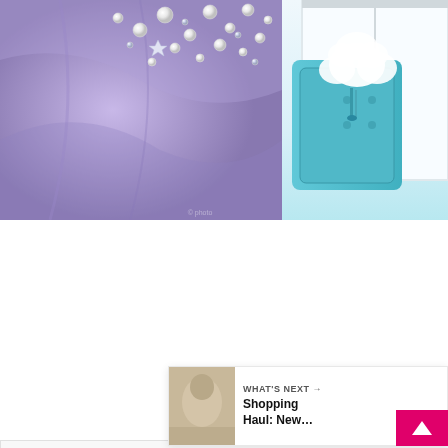[Figure (photo): Close-up of lavender/purple fabric with pearl and crystal embellishments scattered across it]
[Figure (photo): Teal/turquoise chair with white fluffy decoration near a window]
[Figure (screenshot): White panel with loading dots (three grey circles), a teal heart/favorite button, a white share button, and a 'What's Next' recommendation card showing 'Shopping Haul: New...' with a thumbnail and a pink close button]